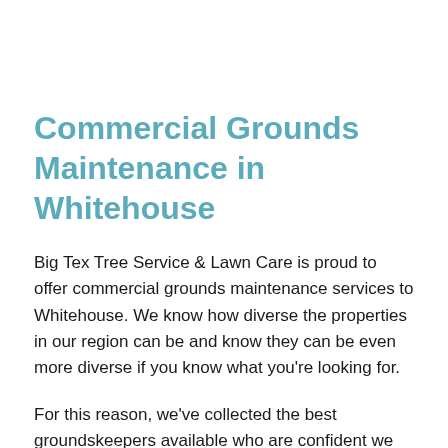Commercial Grounds Maintenance in Whitehouse
Big Tex Tree Service & Lawn Care is proud to offer commercial grounds maintenance services to Whitehouse. We know how diverse the properties in our region can be and know they can be even more diverse if you know what you're looking for.
For this reason, we've collected the best groundskeepers available who are confident we can provide unparalleled groundskeeping services. Call us at (903) 316-0496 to set up an appointment or to get more details.